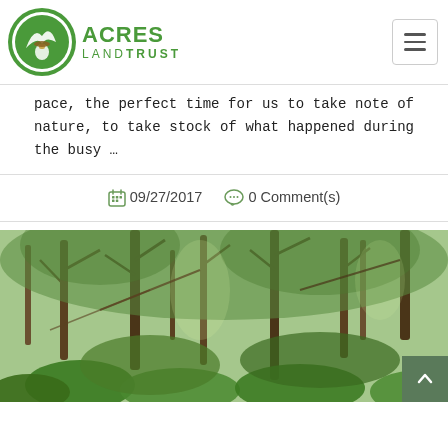ACRES LANDTRUST
pace, the perfect time for us to take note of nature, to take stock of what happened during the busy …
09/27/2017  0 Comment(s)
[Figure (photo): Forest photo showing dense green woodland with trees and large-leafed undergrowth in dappled light]